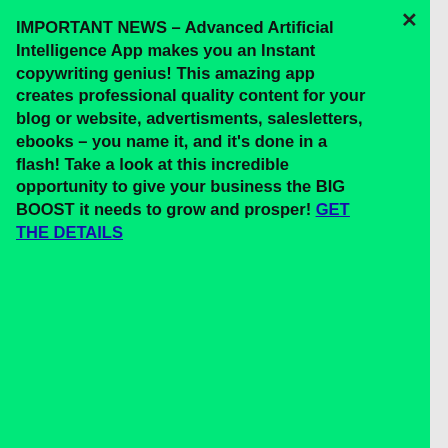IMPORTANT NEWS - Advanced Artificial Intelligence App makes you an Instant copywriting genius! This amazing app creates professional quality content for your blog or website, advertisments, salesletters, ebooks - you name it, and it's done in a flash! Take a look at this incredible opportunity to give your business the BIG BOOST it needs to grow and prosper! GET THE DETAILS
[Figure (screenshot): Website navigation bar with home icon button, italic text 'with this full-packed biz in a box', hamburger menu button, and search icon]
[Figure (screenshot): Dark background with orange dot pattern, large orange rounded rectangle button with white bold text 'GRAB YOURS NOW!']
[Figure (screenshot): Light gray website footer area with blue scroll-to-top button with upward arrow, and partial white content card]